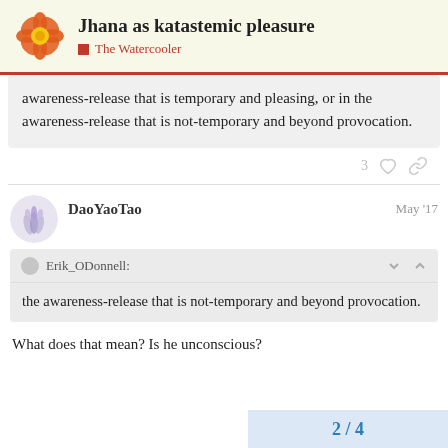Jhana as katastemic pleasure — The Watercooler
awareness-release that is temporary and pleasing, or in the awareness-release that is not-temporary and beyond provocation.
3 ♡ 🔗
DaoYaoTao — May '17
Erik_ODonnell: the awareness-release that is not-temporary and beyond provocation.
What does that mean? Is he unconscious?
2 / 4